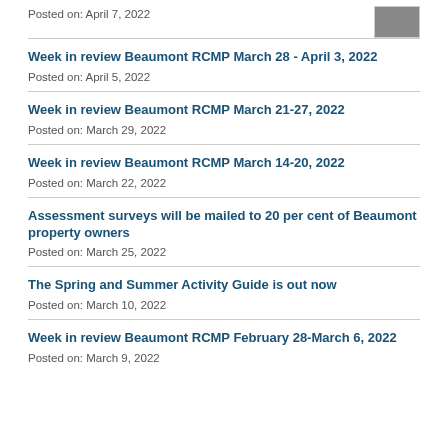Posted on: April 7, 2022
Week in review Beaumont RCMP March 28 - April 3, 2022
Posted on: April 5, 2022
Week in review Beaumont RCMP March 21-27, 2022
Posted on: March 29, 2022
Week in review Beaumont RCMP March 14-20, 2022
Posted on: March 22, 2022
Assessment surveys will be mailed to 20 per cent of Beaumont property owners
Posted on: March 25, 2022
The Spring and Summer Activity Guide is out now
Posted on: March 10, 2022
Week in review Beaumont RCMP February 28-March 6, 2022
Posted on: March 9, 2022